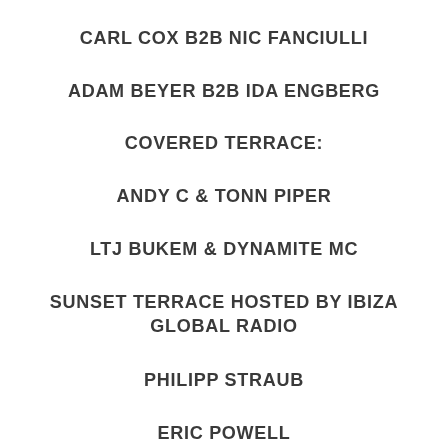CARL COX B2B NIC FANCIULLI
ADAM BEYER B2B IDA ENGBERG
COVERED TERRACE:
ANDY C & TONN PIPER
LTJ BUKEM & DYNAMITE MC
SUNSET TERRACE HOSTED BY IBIZA GLOBAL RADIO
PHILIPP STRAUB
ERIC POWELL